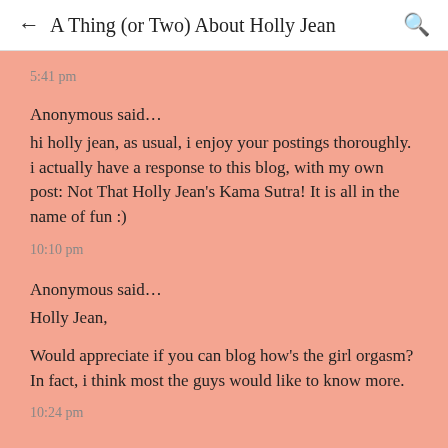← A Thing (or Two) About Holly Jean 🔍
5:41 pm
Anonymous said…
hi holly jean, as usual, i enjoy your postings thoroughly. i actually have a response to this blog, with my own post: Not That Holly Jean's Kama Sutra! It is all in the name of fun :)
10:10 pm
Anonymous said…
Holly Jean,
Would appreciate if you can blog how's the girl orgasm? In fact, i think most the guys would like to know more.
10:24 pm